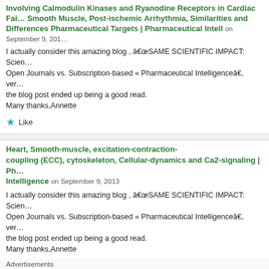Involving Calmodulin Kinases and Ryanodine Receptors in Cardiac Failure, Smooth Muscle, Post-ischemic Arrhythmia, Similarities and Differences as Pharmaceutical Targets | Pharmaceutical Intell on September 9, 2013
I actually consider this amazing blog , â€œSAME SCIENTIFIC IMPACT: Scientific Open Journals vs. Subscription-based « Pharmaceutical Intelligenceâ€, very the blog post ended up being a good read.
Many thanks,Annette
Like
Heart, Smooth-muscle, excitation-contraction-coupling (ECC), cytoskeleton, Cellular-dynamics and Ca2-signaling | Pharmaceutical Intelligence on September 9, 2013
I actually consider this amazing blog , â€œSAME SCIENTIFIC IMPACT: Scientific Open Journals vs. Subscription-based « Pharmaceutical Intelligenceâ€, very the blog post ended up being a good read.
Many thanks,Annette
[Figure (other): Seamless food delivery advertisement with pizza image, Seamless logo, and ORDER NOW button]